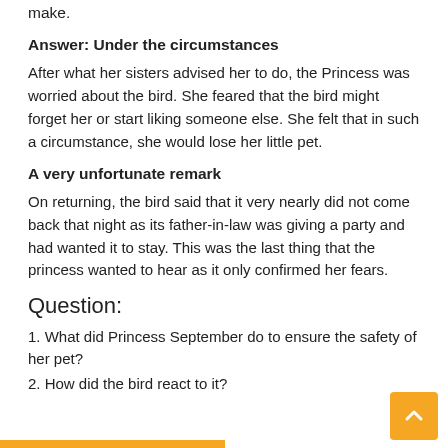was a very unfortunate remark for the bird to make.
Answer: Under the circumstances
After what her sisters advised her to do, the Princess was worried about the bird. She feared that the bird might forget her or start liking someone else. She felt that in such a circumstance, she would lose her little pet.
A very unfortunate remark
On returning, the bird said that it very nearly did not come back that night as its father-in-law was giving a party and had wanted it to stay. This was the last thing that the princess wanted to hear as it only confirmed her fears.
Question:
1. What did Princess September do to ensure the safety of her pet?
2. How did the bird react to it?